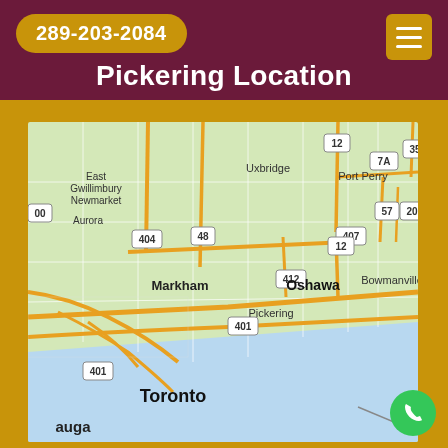289-203-2084
Pickering Location
[Figure (map): Google Maps showing the Greater Toronto Area, including cities such as East Gwillimbury, Newmarket, Aurora, Markham, Uxbridge, Port Perry, Oshawa, Bowmanville, Pickering, Toronto, and Mississauga. Major highways including 401, 404, 407, 412, 48, 57, 12, 7A, 35, and 20 are visible.]